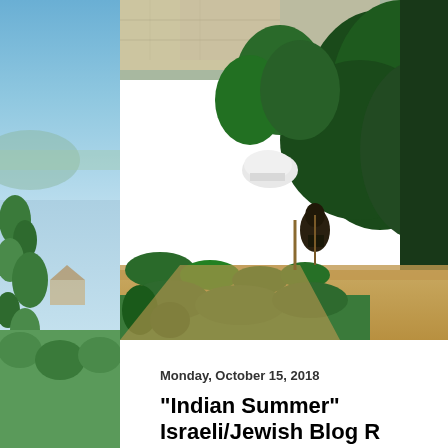[Figure (photo): Left sidebar showing a blue-sky landscape with green foliage and a hillside city view]
[Figure (photo): Garden scene with green shrubs, hedges, trees, a white object (possibly a chair or structure), stone wall in background, and dirt path]
Monday, October 15, 2018
"Indian Summer" Israeli/Jewish Blog R